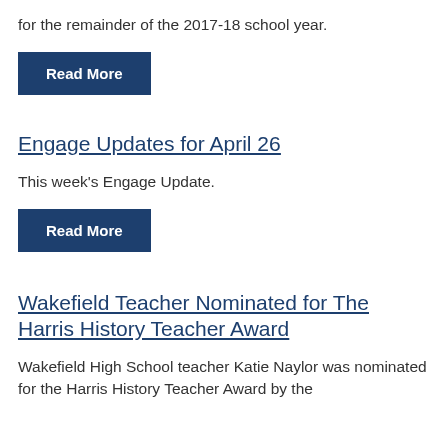for the remainder of the 2017-18 school year.
Read More
Engage Updates for April 26
This week's Engage Update.
Read More
Wakefield Teacher Nominated for The Harris History Teacher Award
Wakefield High School teacher Katie Naylor was nominated for the Harris History Teacher Award by the